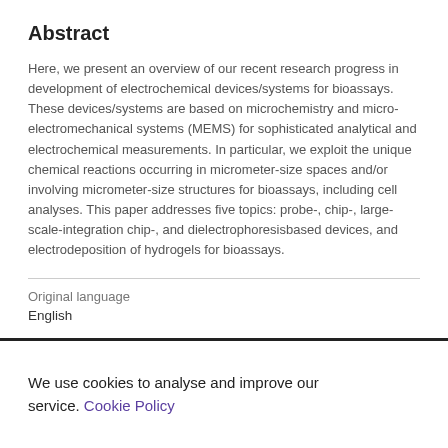Abstract
Here, we present an overview of our recent research progress in development of electrochemical devices/systems for bioassays. These devices/systems are based on microchemistry and micro-electromechanical systems (MEMS) for sophisticated analytical and electrochemical measurements. In particular, we exploit the unique chemical reactions occurring in micrometer-size spaces and/or involving micrometer-size structures for bioassays, including cell analyses. This paper addresses five topics: probe-, chip-, large-scale-integration chip-, and dielectrophoresisbased devices, and electrodeposition of hydrogels for bioassays.
Original language
English
We use cookies to analyse and improve our service. Cookie Policy